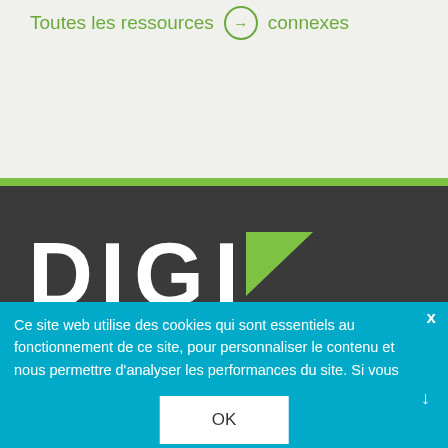Toutes les ressources → connexes
[Figure (logo): DIGI logo in white text with green triangle on dark gray background]
[Figure (other): Social media icons row: LinkedIn, Facebook, Twitter, YouTube, and another icon - circular gray buttons]
Ce site web utilise des cookies qui sont essentiels au fonctionnement de ce site, pour personnaliser le contenu et nous permettre d'analyser les performances du site. Si vous
OK